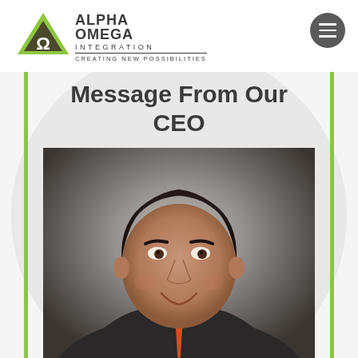Alpha Omega Integration — Creating New Possibilities
Message From Our CEO
[Figure (photo): Professional headshot of CEO, a man in a dark suit with an orange/red tie, smiling, photographed against a grey gradient background.]